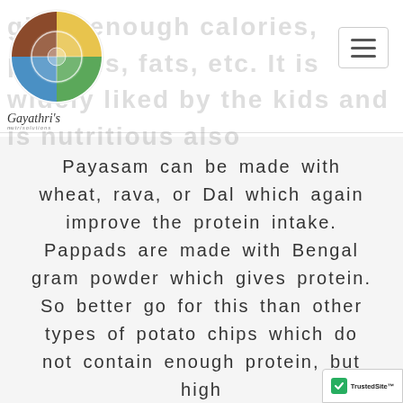gives enough calories, proteins, fats, etc. It is widely liked by the kids and is nutritious also
Payasam can be made with wheat, rava, or Dal which again improve the protein intake. Pappads are made with Bengal gram powder which gives protein. So better go for this than other types of potato chips which do not contain enough protein, but high